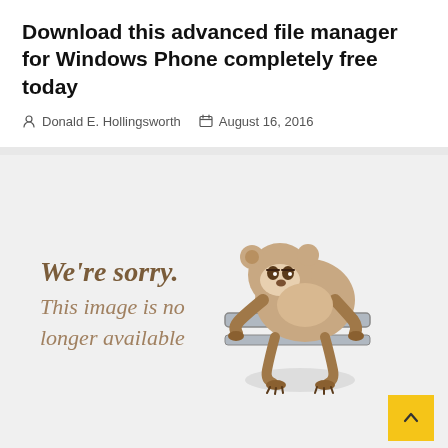Download this advanced file manager for Windows Phone completely free today
Donald E. Hollingsworth   August 16, 2016
[Figure (illustration): A placeholder image showing a cartoon sloth hanging on a bar with text 'We're sorry. This image is no longer available']